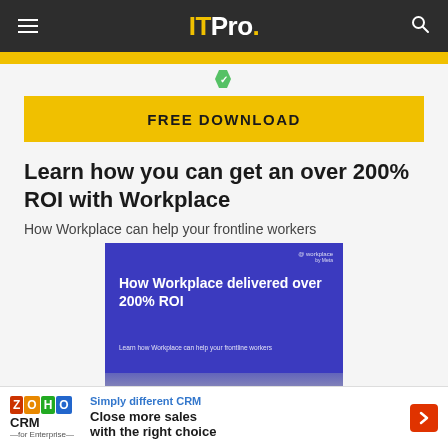ITPro.
FREE DOWNLOAD
Learn how you can get an over 200% ROI with Workplace
How Workplace can help your frontline workers
[Figure (illustration): Book cover showing 'How Workplace delivered over 200% ROI' with subtitle 'Learn how Workplace can help your frontline workers', purple background with photo of people in a workplace setting]
ZOHO CRM for Enterprise — Simply different CRM Close more sales with the right choice